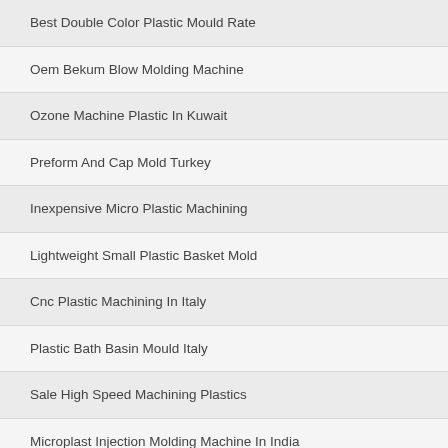Best Double Color Plastic Mould Rate
Oem Bekum Blow Molding Machine
Ozone Machine Plastic In Kuwait
Preform And Cap Mold Turkey
Inexpensive Micro Plastic Machining
Lightweight Small Plastic Basket Mold
Cnc Plastic Machining In Italy
Plastic Bath Basin Mould Italy
Sale High Speed Machining Plastics
Microplast Injection Molding Machine In India